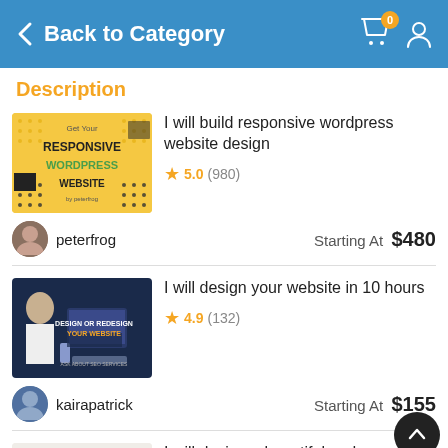Back to Category
Description
I will build responsive wordpress website design
★ 5.0 (980)
peterfrog   Starting At $480
I will design your website in 10 hours
★ 4.9 (132)
kairapatrick   Starting At $155
I will design a beautiful and responsive squarespace...